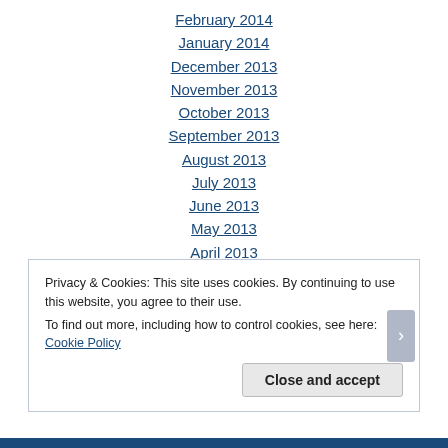February 2014
January 2014
December 2013
November 2013
October 2013
September 2013
August 2013
July 2013
June 2013
May 2013
April 2013
March 2013
February 2013
Privacy & Cookies: This site uses cookies. By continuing to use this website, you agree to their use. To find out more, including how to control cookies, see here: Cookie Policy